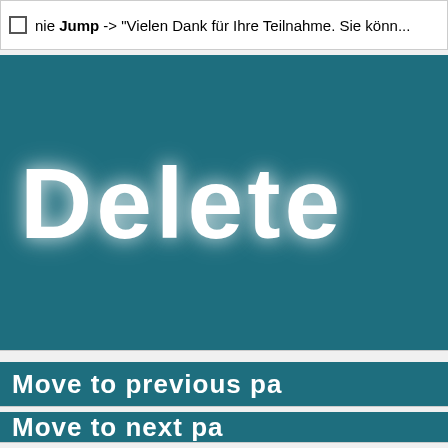nie Jump -> "Vielen Dank für Ihre Teilnahme. Sie könn..."
[Figure (screenshot): Large teal button labeled 'Delete' with white bold text on dark teal background]
[Figure (screenshot): Teal button labeled 'Move to previous pa...' with white bold text]
[Figure (screenshot): Teal button labeled 'Move to next pa...' with white bold text]